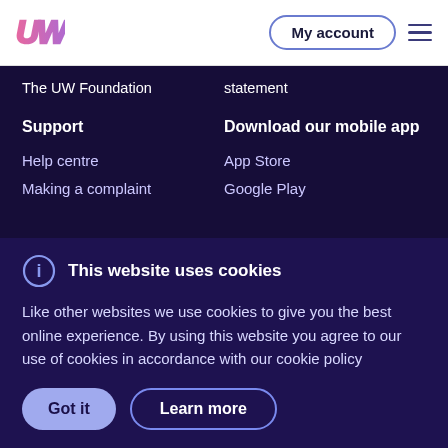UW | My account
The UW Foundation
statement
Support
Download our mobile app
Help centre
App Store
Making a complaint
Google Play
This website uses cookies
Like other websites we use cookies to give you the best online experience. By using this website you agree to our use of cookies in accordance with our cookie policy
Got it | Learn more